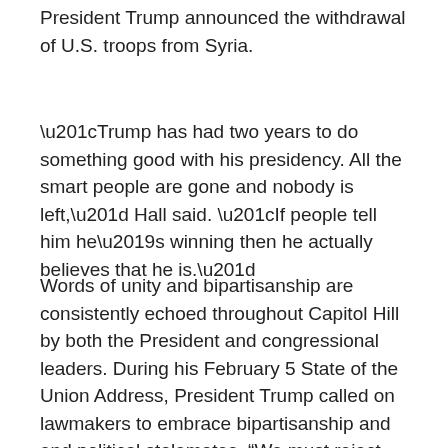President Trump announced the withdrawal of U.S. troops from Syria.
“Trump has had two years to do something good with his presidency. All the smart people are gone and nobody is left,” Hall said. “If people tell him he’s winning then he actually believes that he is.”
Words of unity and bipartisanship are consistently echoed throughout Capitol Hill by both the President and congressional leaders. During his February 5 State of the Union Address, President Trump called on lawmakers to embrace bipartisanship and end political stalemates. “We must reject the politics of revenge, resistance, and retribution, and embrace the boundless potential of cooperation,” the President said. “Together, we can break